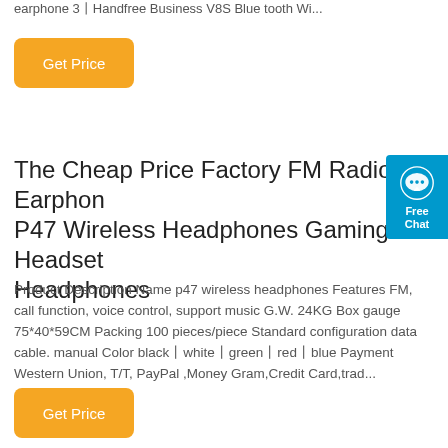earphone 3丨Handfree Business V8S Blue tooth Wi...
Get Price
The Cheap Price Factory FM Radio Earphone P47 Wireless Headphones Gaming Headset Headphones
Product Description Name p47 wireless headphones Features FM, call function, voice control, support music G.W. 24KG Box gauge 75*40*59CM Packing 100 pieces/piece Standard configuration data cable. manual Color black丨white丨green丨red丨blue Payment Western Union, T/T, PayPal ,Money Gram,Credit Card,trad...
Get Price
[Figure (other): Free Chat widget button with speech bubble icon in teal/blue color]